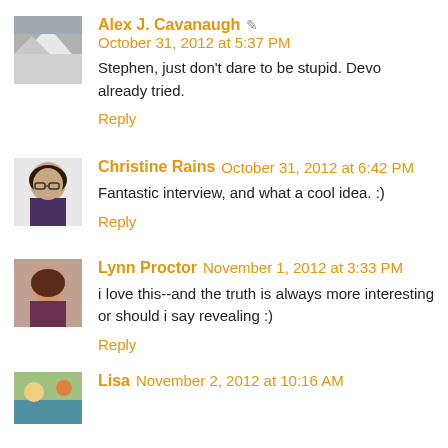Alex J. Cavanaugh ✏ October 31, 2012 at 5:37 PM
Stephen, just don't dare to be stupid. Devo already tried.
Reply
Christine Rains October 31, 2012 at 6:42 PM
Fantastic interview, and what a cool idea. :)
Reply
Lynn Proctor November 1, 2012 at 3:33 PM
i love this--and the truth is always more interesting or should i say revealing :)
Reply
Lisa November 2, 2012 at 10:16 AM